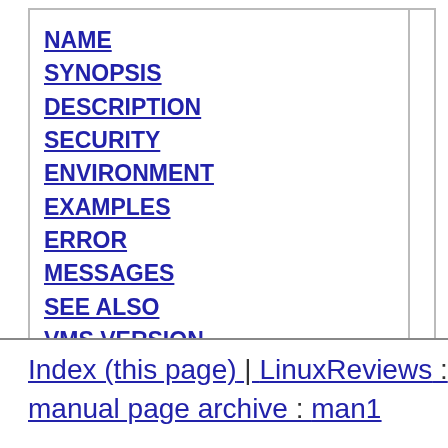NAME
SYNOPSIS
DESCRIPTION
SECURITY
ENVIRONMENT
EXAMPLES
ERROR
MESSAGES
SEE ALSO
VMS VERSION
FILES
TESTING
FEATURE
BUGS
Index (this page) | LinuxReviews : manual page archive : man1